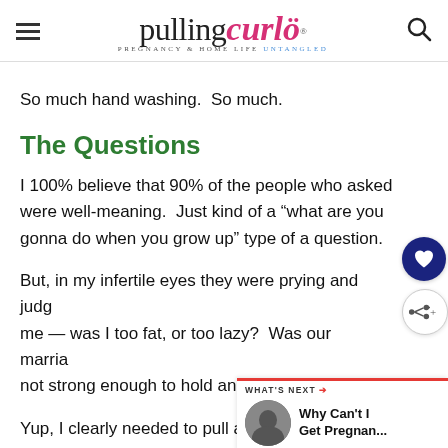pulling curls — PREGNANCY & HOME LIFE UNTANGLED
So much hand washing.  So much.
The Questions
I 100% believe that 90% of the people who asked were well-meaning.  Just kind of a “what are you gonna do when you grow up” type of a question.
But, in my infertile eyes they were prying and judging me — was I too fat, or too lazy?  Was our marriage not strong enough to hold another baby?
Yup, I clearly needed to pull an Elsa and let this one